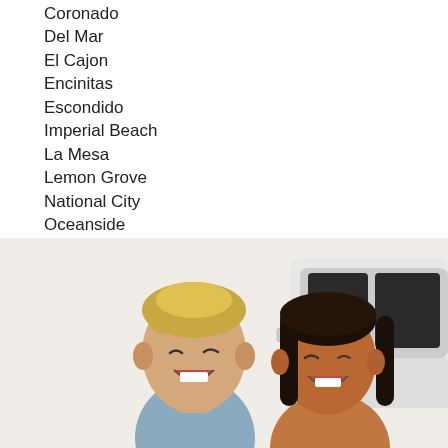Coronado
Del Mar
El Cajon
Encinitas
Escondido
Imperial Beach
La Mesa
Lemon Grove
National City
Oceanside
Poway
San Diego
San Marcos
Santee
Solana Beach
Vista
[Figure (photo): A laughing couple (man with blonde hair and woman with dark hair) smiling in front of a white SUV/car]